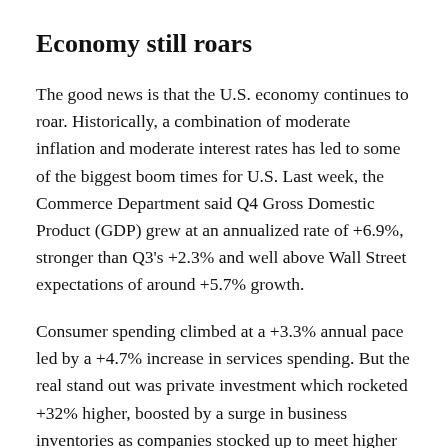Economy still roars
The good news is that the U.S. economy continues to roar. Historically, a combination of moderate inflation and moderate interest rates has led to some of the biggest boom times for U.S. Last week, the Commerce Department said Q4 Gross Domestic Product (GDP) grew at an annualized rate of +6.9%, stronger than Q3’s +2.3% and well above Wall Street expectations of around +5.7% growth.
Consumer spending climbed at a +3.3% annual pace led by a +4.7% increase in services spending. But the real stand out was private investment which rocketed +32% higher, boosted by a surge in business inventories as companies stocked up to meet higher customer demand. Rising inventories, in fact, contributed nearly +5% to Q4 GDP growth.